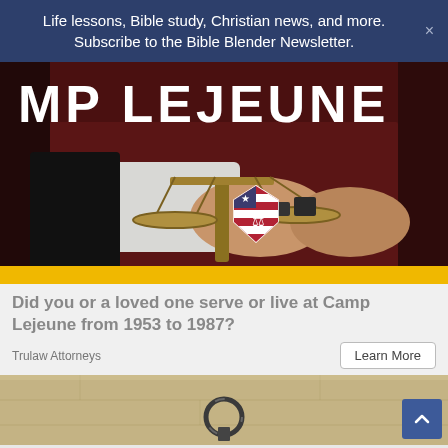Life lessons, Bible study, Christian news, and more. Subscribe to the Bible Blender Newsletter.
[Figure (photo): Advertisement image showing scales of justice held by a person in a suit, with text 'MP LEJEUNE' and a shield logo with American flag motif at the bottom. Yellow bar below the image.]
Did you or a loved one serve or live at Camp Lejeune from 1953 to 1987?
Trulaw Attorneys
Learn More
[Figure (photo): Partial image of a sandy stone or concrete wall with a metal ring/hook attached to it.]